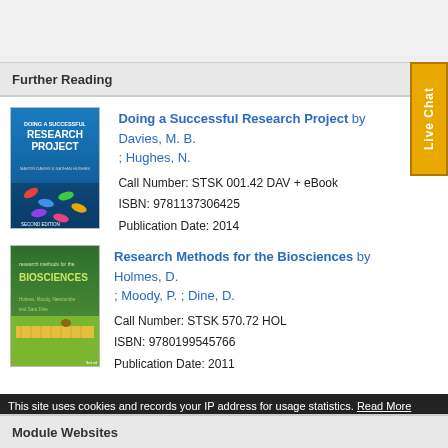Further Reading
[Figure (photo): Book cover: Doing a Successful Research Project by Martin Davies and Nathan Hughes, second edition, showing colorful paper clips on white background.]
Doing a Successful Research Project by Davies, M. B. ; Hughes, N.
Call Number: STSK 001.42 DAV + eBook
ISBN: 9781137306425
Publication Date: 2014
[Figure (photo): Book cover: Research Methods for the Biosciences, showing a ruler on grass with a small organism, green background.]
Research Methods for the Biosciences by Holmes, D. ; Moody, P. ; Dine, D.
Call Number: STSK 570.72 HOL
ISBN: 9780199545766
Publication Date: 2011
This site uses cookies and records your IP address for usage statistics. Read More
Module Websites